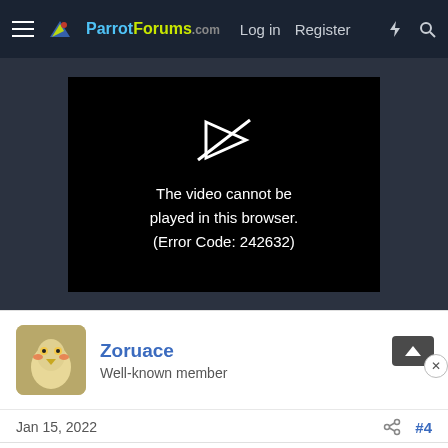ParrotForums.com  Log in  Register
[Figure (screenshot): Video player showing error: The video cannot be played in this browser. (Error Code: 242632)]
Zoruace
Well-known member
Jan 15, 2022  #4
foxgloveparrot said